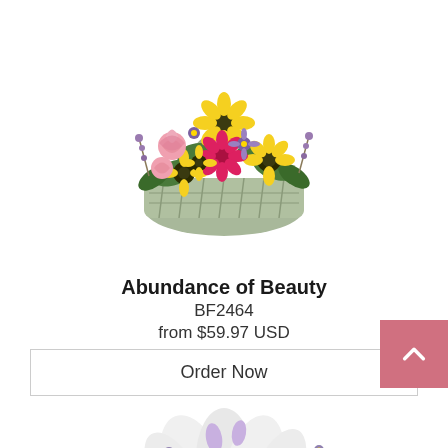[Figure (photo): Floral arrangement in a basket with yellow sunflowers, pink carnations, magenta gerbera daisies, purple asters, and greenery with a tall arching handle]
Abundance of Beauty
BF2464
from $59.97 USD
Order Now
[Figure (photo): Partial view of a white floral arrangement with lilies and daisies, partially cut off at bottom of page]